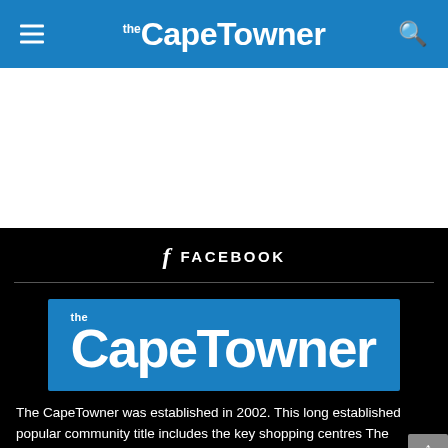The CapeTowner
[Figure (logo): The CapeTowner logo on blue background in header navigation bar]
[Figure (other): White advertisement area placeholder]
FACEBOOK
[Figure (logo): The CapeTowner logo on blue background, large version in footer area]
The CapeTowner was established in 2002. This long established popular community title includes the key shopping centres The Golden Acre and V & A Waterfront within its distribution area.